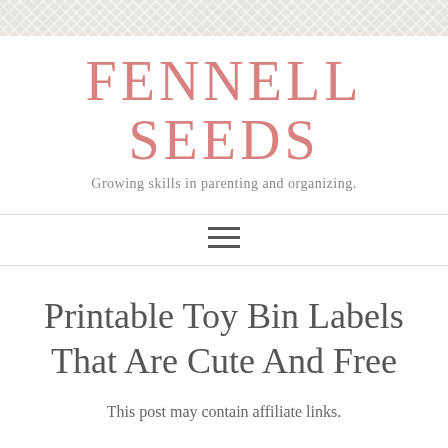FENNELL SEEDS
Growing skills in parenting and organizing.
Printable Toy Bin Labels That Are Cute And Free
This post may contain affiliate links.